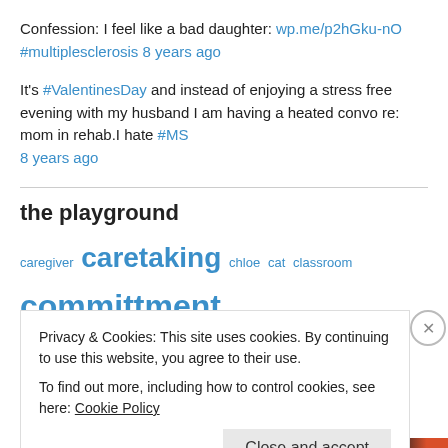Confession: I feel like a bad daughter: wp.me/p2hGku-nO #multiplesclerosis 8 years ago
It’s #ValentinesDay and instead of enjoying a stress free evening with my husband I am having a heated convo re: mom in rehab.I hate #MS 8 years ago
the playground
caregiver caretaking chloe cat classroom committment
Privacy & Cookies: This site uses cookies. By continuing to use this website, you agree to their use.
To find out more, including how to control cookies, see here: Cookie Policy
Close and accept